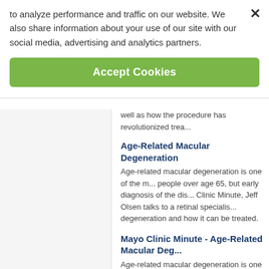to analyze performance and traffic on our website. We also share information about your use of our site with our social media, advertising and analytics partners.
Accept Cookies
well as how the procedure has revolutionized trea...
Age-Related Macular Degeneration
Age-related macular degeneration is one of the m... people over age 65, but early diagnosis of the dis... Clinic Minute, Jeff Olsen talks to a retinal specialis... degeneration and how it can be treated.
Mayo Clinic Minute - Age-Related Macular Deg...
Age-related macular degeneration is one of the m... people over age 65, but early diagnosis of the dis... Clinic Minute, Jeff Olsen talks to a retinal specialis... degeneration and how it can be treated.
Hers' Starters Guide 2016: Cardio
Find out how to do this exercise in Muscle & Fitne... beginners.
Hers' Starters Guide 2016: Warmuo
Find out how to do this exercise in Muscle & Fitne...